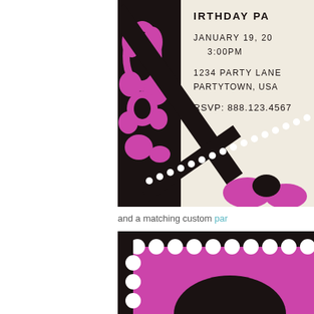[Figure (photo): Close-up photo of a birthday party invitation card with pink and black decorative damask border with white dot trim. The invitation shows text: IRTHDAY PA, JANUARY 19, 20, 3:00PM, 1234 PARTY LANE, PARTYTOWN, USA, RSVP: 888.123.4567]
and a matching custom par
[Figure (photo): Close-up of a pink and black party favor or card with black border featuring white scalloped/semicircle pattern trim]